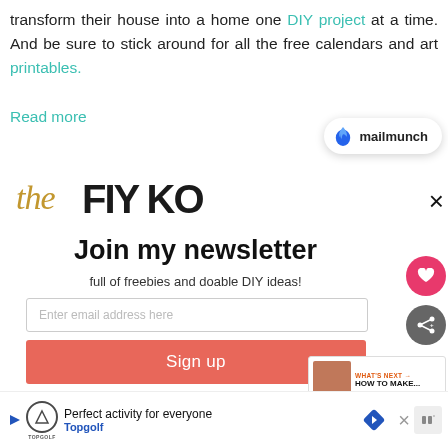transform their house into a home one DIY project at a time. And be sure to stick around for all the free calendars and art printables.
Read more
[Figure (logo): Mailmunch badge with flame logo and text 'mailmunch']
[Figure (logo): Blog branding text showing 'The' in serif gold and large bold black letters]
×
Join my newsletter
full of freebies and doable DIY ideas!
[Figure (screenshot): Email input field with placeholder 'Enter email address here']
[Figure (screenshot): Sign up button in coral/red color]
[Figure (infographic): Heart icon button (pink circle), share icon button (grey circle), and 'What's Next' panel with thumbnail and 'HOW TO MAKE...' text]
[Figure (infographic): Advertisement bar: Topgolf 'Perfect activity for everyone' with play button, logo, diamond nav icon, close X, and additional icon]